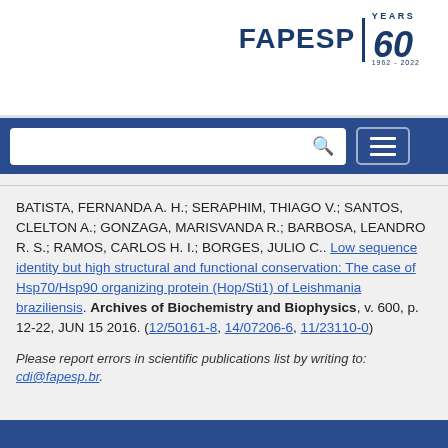[Figure (logo): FAPESP 60 Years logo (1962-2022), navy blue text and italic 60 numeral with a divider line]
BATISTA, FERNANDA A. H.; SERAPHIM, THIAGO V.; SANTOS, CLELTON A.; GONZAGA, MARISVANDA R.; BARBOSA, LEANDRO R. S.; RAMOS, CARLOS H. I.; BORGES, JULIO C.. Low sequence identity but high structural and functional conservation: The case of Hsp70/Hsp90 organizing protein (Hop/Sti1) of Leishmania braziliensis. Archives of Biochemistry and Biophysics, v. 600, p. 12-22, JUN 15 2016. (12/50161-8, 14/07206-6, 11/23110-0)
Please report errors in scientific publications list by writing to: cdi@fapesp.br.